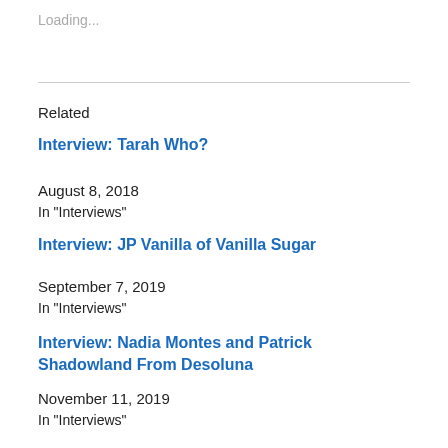Loading...
Related
Interview: Tarah Who?
August 8, 2018
In "Interviews"
Interview: JP Vanilla of Vanilla Sugar
September 7, 2019
In "Interviews"
Interview: Nadia Montes and Patrick Shadowland From Desoluna
November 11, 2019
In "Interviews"